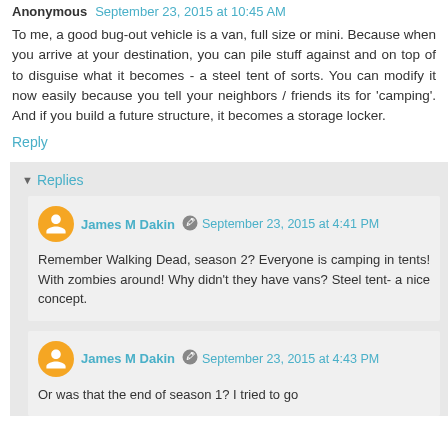Anonymous  September 23, 2015 at 10:45 AM
To me, a good bug-out vehicle is a van, full size or mini. Because when you arrive at your destination, you can pile stuff against and on top of to disguise what it becomes - a steel tent of sorts. You can modify it now easily because you tell your neighbors / friends its for 'camping'. And if you build a future structure, it becomes a storage locker.
Reply
Replies
James M Dakin  September 23, 2015 at 4:41 PM
Remember Walking Dead, season 2? Everyone is camping in tents! With zombies around! Why didn't they have vans? Steel tent- a nice concept.
James M Dakin  September 23, 2015 at 4:43 PM
Or was that the end of season 1? I tried to go